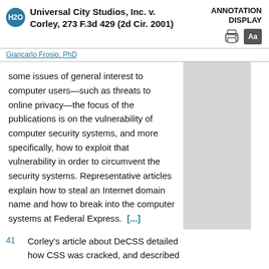Universal City Studios, Inc. v. Corley, 273 F.3d 429 (2d Cir. 2001)   ANNOTATION DISPLAY
Giancarlo Frosio, PhD
some issues of general interest to computer users—such as threats to online privacy—the focus of the publications is on the vulnerability of computer security systems, and more specifically, how to exploit that vulnerability in order to circumvent the security systems. Representative articles explain how to steal an Internet domain name and how to break into the computer systems at Federal Express.  [...]
41   Corley's article about DeCSS detailed how CSS was cracked, and described